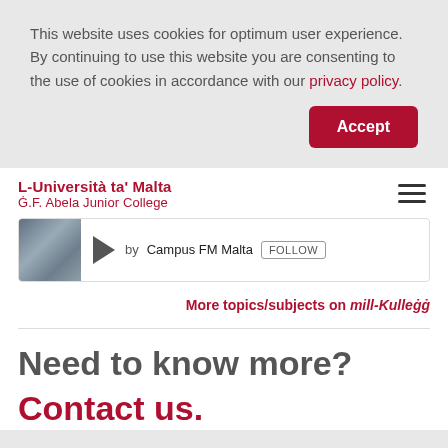This website uses cookies for optimum user experience. By continuing to use this website you are consenting to the use of cookies in accordance with our privacy policy.
Accept
L-Università ta' Malta
Ġ.F. Abela Junior College
[Figure (screenshot): Podcast player widget showing a thumbnail image, play button, 'by Campus FM Malta' text, and a FOLLOW button]
More topics/subjects on mill-Kulleġġ
Need to know more?
Contact us.